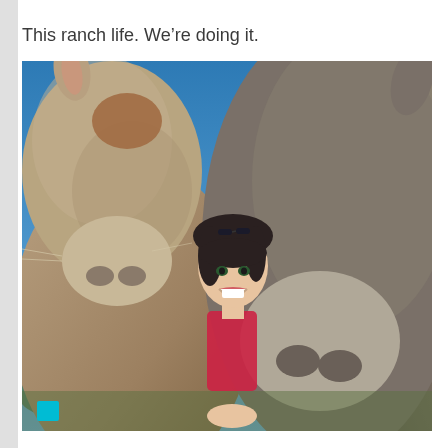This ranch life. We're doing it.
[Figure (photo): A smiling woman with dark hair and sunglasses on her head, posing between two donkeys in a selfie-style photo outdoors with blue sky in the background.]